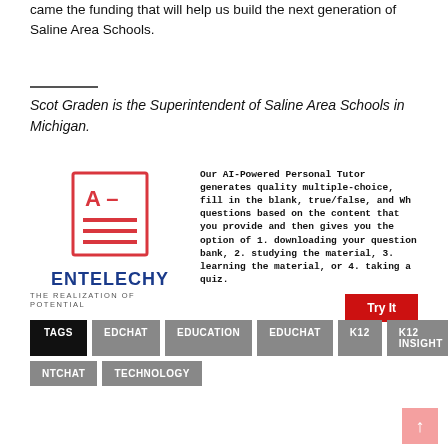came the funding that will help us build the next generation of Saline Area Schools.
Scot Graden is the Superintendent of Saline Area Schools in Michigan.
[Figure (logo): Entelechy logo with report card icon (A-) in red outline box, company name ENTELECHY in blue bold uppercase, tagline THE REALIZATION OF POTENTIAL in gray]
Our AI-Powered Personal Tutor generates quality multiple-choice, fill in the blank, true/false, and Wh questions based on the content that you provide and then gives you the option of 1. downloading your question bank, 2. studying the material, 3. learning the material, or 4. taking a quiz.
TAGS
EDCHAT
EDUCATION
EDUCHAT
K12
K12 INSIGHT
NTCHAT
TECHNOLOGY